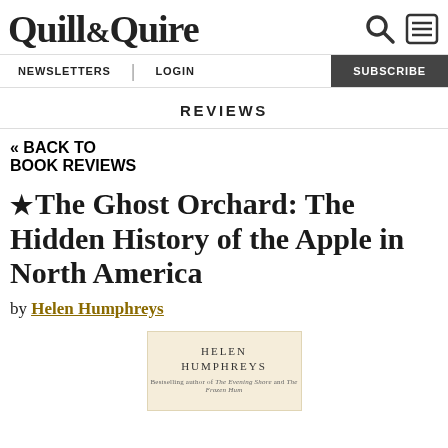Quill & Quire
REVIEWS
« BACK TO BOOK REVIEWS
★The Ghost Orchard: The Hidden History of the Apple in North America
by Helen Humphreys
[Figure (illustration): Book cover thumbnail showing HELEN HUMPHREYS author name in uppercase serif letters on a light beige background]